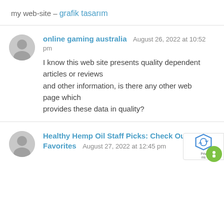my web-site – grafik tasarım
online gaming australia August 26, 2022 at 10:52 pm
I know this web site presents quality dependent articles or reviews
and other information, is there any other web page which
provides these data in quality?
Healthy Hemp Oil Staff Picks: Check Out Favorites August 27, 2022 at 12:45 pm